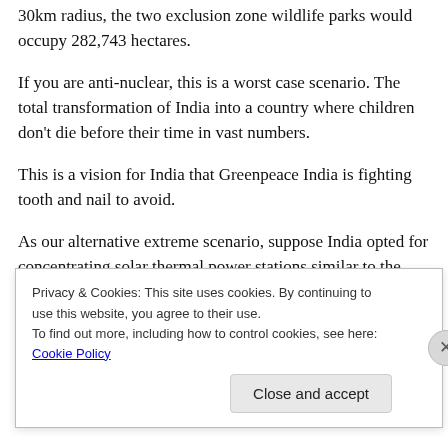30km radius, the two exclusion zone wildlife parks would occupy 282,743 hectares.
If you are anti-nuclear, this is a worst case scenario. The total transformation of India into a country where children don't die before their time in vast numbers.
This is a vision for India that Greenpeace India is fighting tooth and nail to avoid.
As our alternative extreme scenario, suppose India opted for concentrating solar thermal power stations similar to the Spanish Andosol system to supply 14 million GWh
Privacy & Cookies: This site uses cookies. By continuing to use this website, you agree to their use.
To find out more, including how to control cookies, see here: Cookie Policy
Close and accept